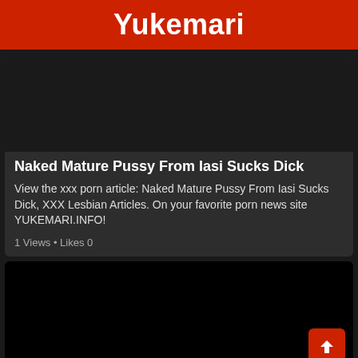Yukemari
[Figure (photo): Dark/black image area at top of article card]
Naked Mature Pussy From Iasi Sucks Dick
View the xxx porn article: Naked Mature Pussy From Iasi Sucks Dick, XXX Lesbian Articles. On your favorite porn news site YUKEMARI.INFO!
1 Views • Likes 0
[Figure (photo): Black image area of second article card with red scroll-to-top button]